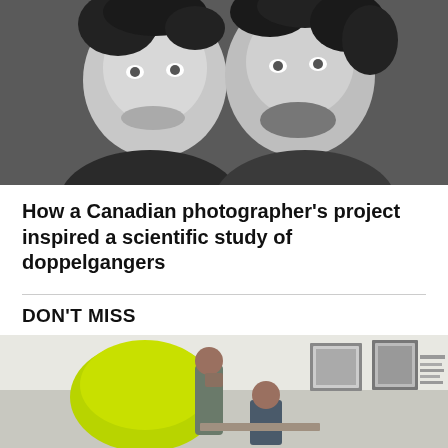[Figure (photo): Black and white portrait photograph of two men side by side, both looking at the camera. They appear similar in appearance (doppelgangers). Both have dark hair and similar facial features.]
How a Canadian photographer's project inspired a scientific study of doppelgangers
DON'T MISS
[Figure (photo): Color photograph of people in an office or public space. A large yellow-green object is visible on the left. People are seated and standing. Framed portraits hang on the wall in the background.]